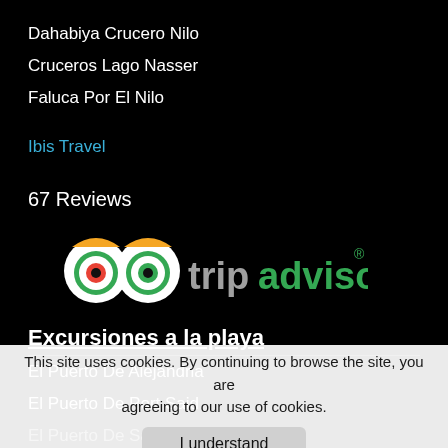Dahabiya Crucero Nilo
Cruceros Lago Nasser
Faluca Por El Nilo
Ibis Travel
67 Reviews
[Figure (logo): TripAdvisor logo with owl eyes icon and green gradient text]
Excursiones a la playa
El Puerto De Alejandria
El Puerto De Port Said
El Puerto De Safaga
El Puerto De Sharm El Sheikh
El Puerto De Aqaba
El Puerto De Ain El Sokhna
This site uses cookies. By continuing to browse the site, you are agreeing to our use of cookies.
I understand